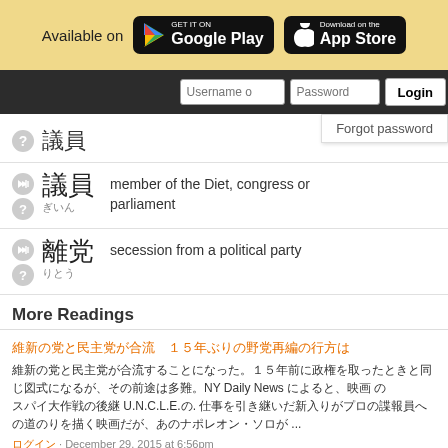[Figure (screenshot): Top banner showing 'Available on Google Play and App Store' badges on a golden/tan background]
[Figure (screenshot): Login bar with Username, Password fields and Login button, with Forgot password popup]
〇〇 (Japanese kanji entry with reading)
〇〇 — member of the Diet, congress or parliament
〇〇 — secession from a political party
More Readings
Article title in Japanese about 15 something
Article body in Japanese mentioning NY Daily News and U.N.C.L.E. ... December 29, 2015 at 6:56pm